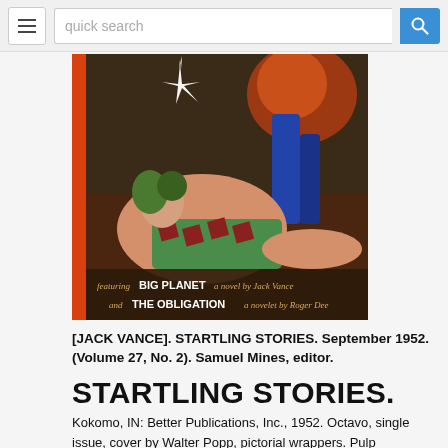[Figure (photo): Pulp magazine cover of Startling Stories September 1952 showing a reclining woman in a checkered outfit with science fiction battle scene in background. Text at bottom reads: featuring BIG PLANET a novel by Jack Vance and THE OBLIGATION a novelet by Roger Dee]
[JACK VANCE]. STARTLING STORIES. September 1952. (Volume 27, No. 2). Samuel Mines, editor.
STARTLING STORIES.
Kokomo, IN: Better Publications, Inc., 1952. Octavo, single issue, cover by Walter Popp, pictorial wrappers. Pulp magazine. First publication of "Big Planet" by Jack Vance. Tymm and Ashley,